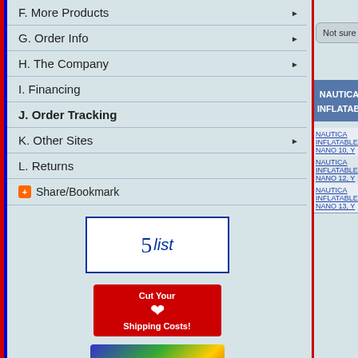F.  More Products ▶
G.  Order Info ▶
H.  The Company ▶
I.  Financing
J.  Order Tracking
K.  Other Sites ▶
L. Returns
Share/Bookmark
[Figure (logo): 5list badge logo]
[Figure (logo): Cut Your Shipping Costs Canada badge]
[Figure (logo): International Orders badge]
[Figure (logo): eBay Power Seller badge]
Not sure which model y
NAUTICA INFLATABLE
NAUTICA INFLATABLE NANO 10, Y
NAUTICA INFLATABLE NANO 12, Y
NAUTICA INFLATABLE NANO 13, Y
NAUTICA INFLATABLE NANO 14, Y
NAUTICA INFLATABLE NANO 15, Y
NAUTICA INFLATABLE NANO 18, Y
NAUTICA INFLATABLE RIB 10 WID
NAUTICA INFLATABLE RIB 11 DEL
NAUTICA INFLATABLE RIB 11 VEN
NAUTICA INFLATABLE RIB 12 DEL
NAUTICA INFLATABLE RIB 12 DEL
NAUTICA INFLATABLE RIB 12 VEN
NAUTICA INFLATABLE RIB 12 WID
NAUTICA INFLATABLE RIB 13 WID
NAUTICA INFLATABLE RIB 13.5 W
NAUTICA INFLATABLE RIB 14 RIB